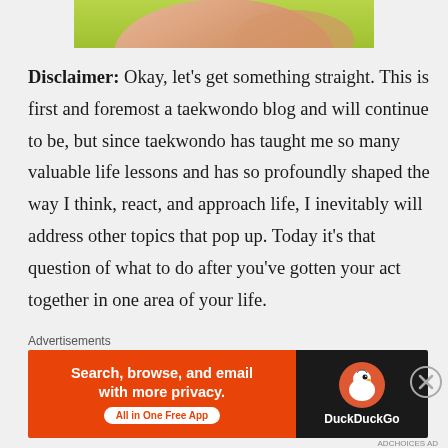[Figure (photo): Partial view of a person's hand/arm against a green background, cropped at the top of the page]
Disclaimer: Okay, let's get something straight. This is first and foremost a taekwondo blog and will continue to be, but since taekwondo has taught me so many valuable life lessons and has so profoundly shaped the way I think, react, and approach life, I inevitably will address other topics that pop up. Today it's that question of what to do after you've gotten your act together in one area of your life.
Advertisements
[Figure (screenshot): DuckDuckGo advertisement banner: orange left section with text 'Search, browse, and email with more privacy. All in One Free App' and dark right section with DuckDuckGo duck logo and brand name]